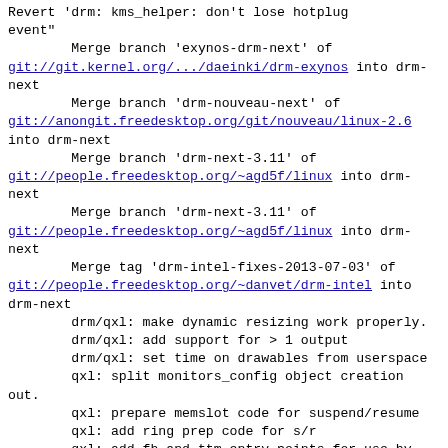Revert 'drm: kms_helper: don't lose hotplug event"
        Merge branch 'exynos-drm-next' of git://git.kernel.org/.../daeinki/drm-exynos into drm-next
        Merge branch 'drm-nouveau-next' of git://anongit.freedesktop.org/git/nouveau/linux-2.6 into drm-next
        Merge branch 'drm-next-3.11' of git://people.freedesktop.org/~agd5f/linux into drm-next
        Merge branch 'drm-next-3.11' of git://people.freedesktop.org/~agd5f/linux into drm-next
        Merge tag 'drm-intel-fixes-2013-07-03' of git://people.freedesktop.org/~danvet/drm-intel into drm-next
        drm/qxl: make dynamic resizing work properly.
        drm/qxl: add support for > 1 output
        drm/qxl: set time on drawables from userspace
        qxl: split monitors_config object creation out.
        qxl: prepare memslot code for suspend/resume
        qxl: add ring prep code for s/r
        qxl: add fb and ttm entry points for use by suspend/resume.
        qxl: add suspend/resume/hibernate support.
        qxl: use drm helper hotplug support
        Merge branch 'qxl-next' of git://people.freedesktop.org/~airlied/linux into drm-next
        Merge branch 'exynos-drm-next' of git://git.kernel.org/.../daeinki/drm-exynos into drm-next